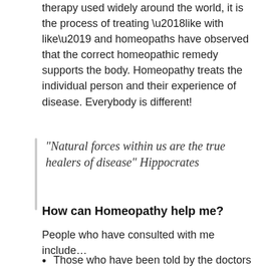therapy used widely around the world, it is the process of treating ‘like with like’ and homeopaths have observed that the correct homeopathic remedy supports the body. Homeopathy treats the individual person and their experience of disease. Everybody is different!
“Natural forces within us are the true healers of disease” Hippocrates
How can Homeopathy help me?
People who have consulted with me include…
Those who have been told by the doctors